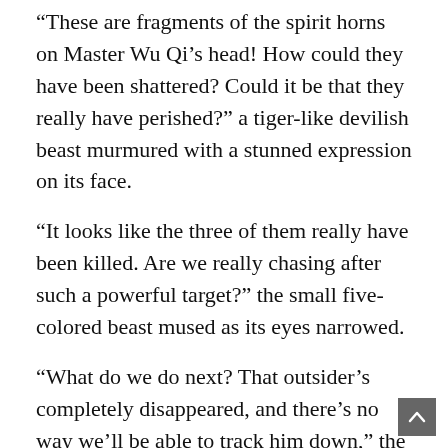“These are fragments of the spirit horns on Master Wu Qi’s head! How could they have been shattered? Could it be that they really have perished?” a tiger-like devilish beast murmured with a stunned expression on its face.
“It looks like the three of them really have been killed. Are we really chasing after such a powerful target?” the small five-colored beast mused as its eyes narrowed.
“What do we do next? That outsider’s completely disappeared, and there’s no way we’ll be able to track him down,” the snake-headed wolf said with a dark expression.
“Hmph, there’s no way we’d continue this chase even if we could track him down. If he could kill Master Wu Qi and the others, then we’ll be no match for him, either. Let’s go back